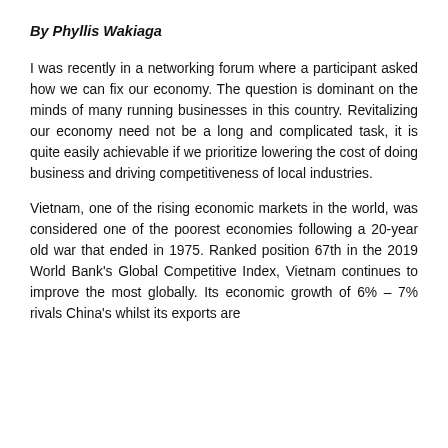By Phyllis Wakiaga
I was recently in a networking forum where a participant asked how we can fix our economy. The question is dominant on the minds of many running businesses in this country. Revitalizing our economy need not be a long and complicated task, it is quite easily achievable if we prioritize lowering the cost of doing business and driving competitiveness of local industries.
Vietnam, one of the rising economic markets in the world, was considered one of the poorest economies following a 20-year old war that ended in 1975. Ranked position 67th in the 2019 World Bank's Global Competitive Index, Vietnam continues to improve the most globally. Its economic growth of 6% – 7% rivals China's whilst its exports are